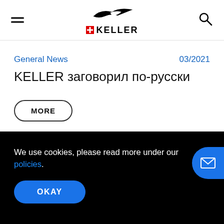[Figure (logo): Keller brand header with hamburger menu, bird logo, Swiss flag and KELLER wordmark, and search icon]
General News
03/2021
KELLER заговорил по-русски
MORE
We use cookies, please read more under our policies.
OKAY